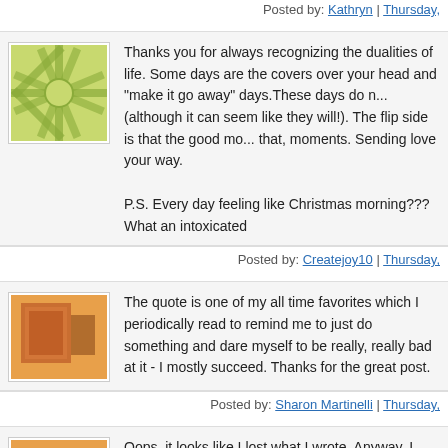Posted by: Kathryn | Thursday,
Thanks you for always recognizing the dualities of life. Some days are the covers over your head and "make it go away" days.These days do not last (although it can seem like they will!). The flip side is that the good mo... that, moments. Sending love your way.

P.S. Every day feeling like Christmas morning??? What an intoxicated
Posted by: Createjoy10 | Thursday,
The quote is one of my all time favorites which I periodically read to remind me to just do something and dare myself to be really, really bad at it - I mostly succeed. Thanks for the great post.
Posted by: Sharon Martinelli | Thursday,
Oops, it looks like I lost what I wrote. Anyway, I love the post as well